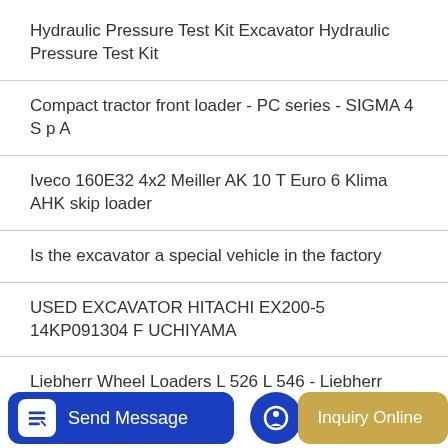Hydraulic Pressure Test Kit Excavator Hydraulic Pressure Test Kit
Compact tractor front loader - PC series - SIGMA 4 S p A
Iveco 160E32 4x2 Meiller AK 10 T Euro 6 Klima AHK skip loader
Is the excavator a special vehicle in the factory
USED EXCAVATOR HITACHI EX200-5 14KP091304 F UCHIYAMA
Liebherr Wheel Loaders L 526 L 546 - Liebherr
Send Message | Inquiry Online